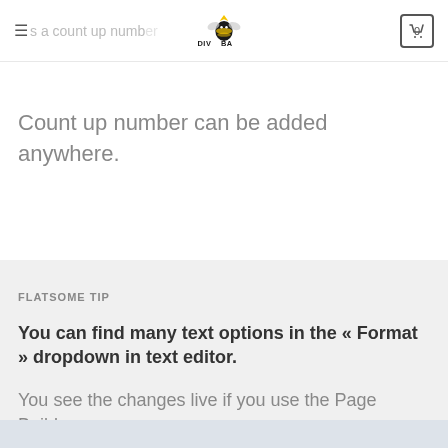≡ is a count up number [logo DIVOOBA] 0
Count up number can be added anywhere.
FLATSOME TIP
You can find many text options in the « Format » dropdown in text editor.
You see the changes live if you use the Page Builder